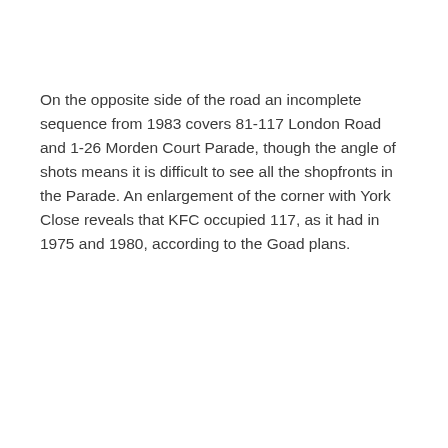On the opposite side of the road an incomplete sequence from 1983 covers 81-117 London Road and 1-26 Morden Court Parade, though the angle of shots means it is difficult to see all the shopfronts in the Parade. An enlargement of the corner with York Close reveals that KFC occupied 117, as it had in 1975 and 1980, according to the Goad plans.